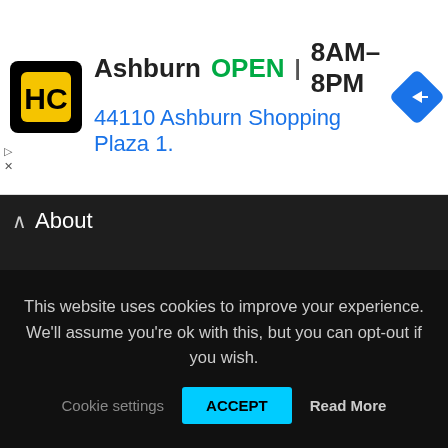[Figure (infographic): Advertisement banner for Hairclub (HC) Ashburn location. Shows HC logo (yellow/black), text 'Ashburn OPEN 8AM–8PM' and '44110 Ashburn Shopping Plaza 1.' with a blue navigation diamond icon.]
About
SheetMusic-Free.com
Follow us
[Figure (infographic): Row of social media icons: Facebook (blue), Twitter (light blue), Instagram (gradient pink/red), Pinterest (red), Tumblr (dark blue), YouTube (red)]
This website uses cookies to improve your experience. We'll assume you're ok with this, but you can opt-out if you wish.
Cookie settings   ACCEPT   Read More